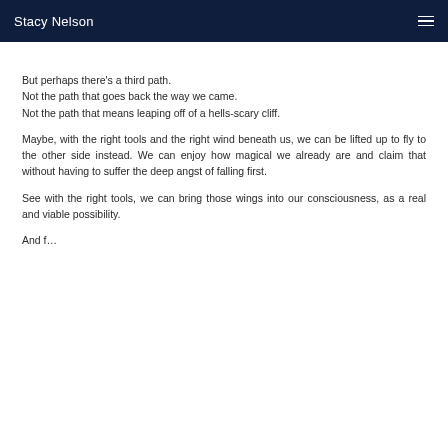Stacy Nelson
But perhaps there's a third path.
Not the path that goes back the way we came.
Not the path that means leaping off of a hells-scary cliff.
Maybe, with the right tools and the right wind beneath us, we can be lifted up to fly to the other side instead. We can enjoy how magical we already are and claim that without having to suffer the deep angst of falling first.
See with the right tools, we can bring those wings into our consciousness, as a real and viable possibility.
And for...